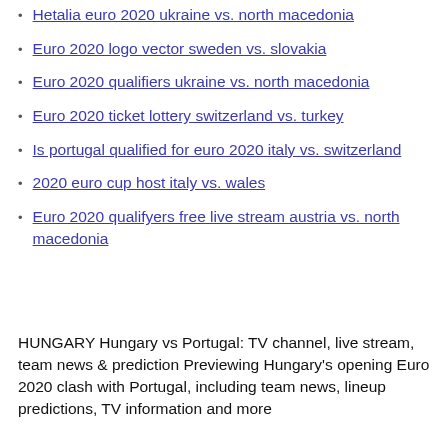Hetalia euro 2020 ukraine vs. north macedonia
Euro 2020 logo vector sweden vs. slovakia
Euro 2020 qualifiers ukraine vs. north macedonia
Euro 2020 ticket lottery switzerland vs. turkey
Is portugal qualified for euro 2020 italy vs. switzerland
2020 euro cup host italy vs. wales
Euro 2020 qualifyers free live stream austria vs. north macedonia
HUNGARY Hungary vs Portugal: TV channel, live stream, team news & prediction Previewing Hungary's opening Euro 2020 clash with Portugal, including team news, lineup predictions, TV information and more